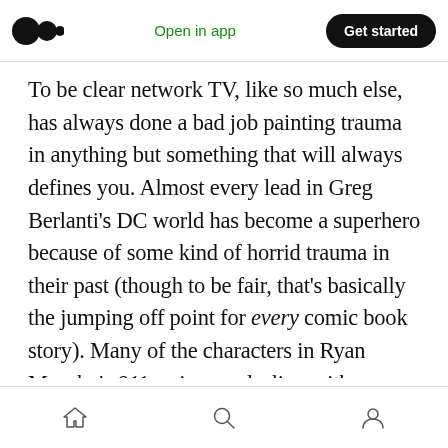Open in app  Get started
To be clear network TV, like so much else, has always done a bad job painting trauma in anything but something that will always defines you. Almost every lead in Greg Berlanti's DC world has become a superhero because of some kind of horrid trauma in their past (though to be fair, that's basically the jumping off point for every comic book story). Many of the characters in Ryan Murphy's 911 series are dealing with some kind of trauma at some point in their past (and if they aren't, they will eventually). It is rare
home  search  profile